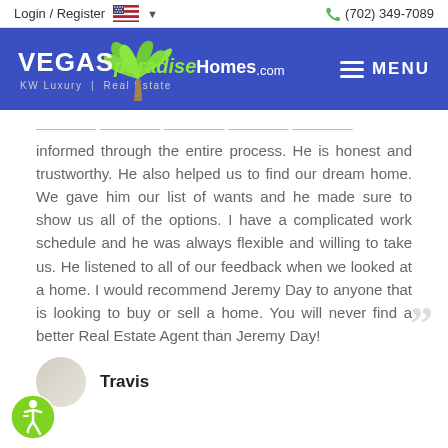Login / Register  (702) 349-7089
[Figure (logo): VEGASparadiseHomes.com KW Luxury Real Estate logo with palm tree graphic on blue banner, with MENU button]
informed through the entire process. He is honest and trustworthy. He also helped us to find our dream home. We gave him our list of wants and he made sure to show us all of the options. I have a complicated work schedule and he was always flexible and willing to take us. He listened to all of our feedback when we looked at a home. I would recommend Jeremy Day to anyone that is looking to buy or sell a home. You will never find a better Real Estate Agent than Jeremy Day!
Travis